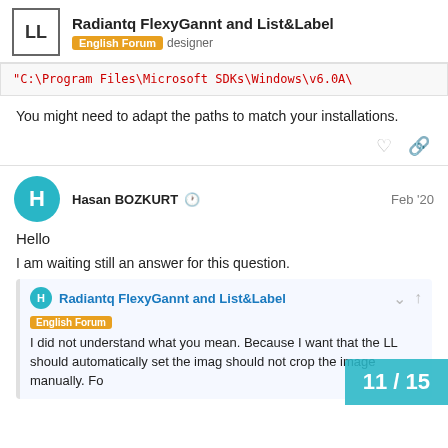Radiantq FlexyGannt and List&Label — English Forum · designer
"C:\Program Files\Microsoft SDKs\Windows\v6.0A\
You might need to adapt the paths to match your installations.
Hasan BOZKURT   Feb '20
Hello
I am waiting still an answer for this question.
Radiantq FlexyGannt and List&Label
English Forum
I did not understand what you mean. Because I want that the LL should automatically set the image should not crop the image manually. Fo
11 / 15